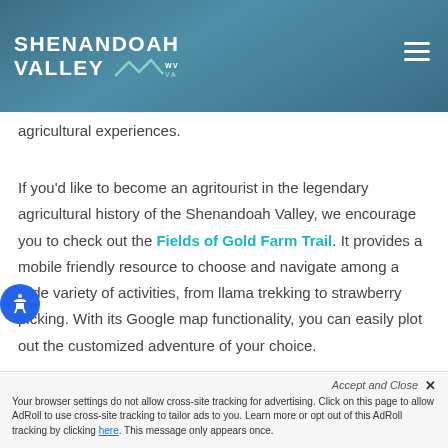SHENANDOAH VALLEY WV VA
agricultural experiences.
If you’d like to become an agritourist in the legendary agricultural history of the Shenandoah Valley, we encourage you to check out the Fields of Gold Farm Trail. It provides a mobile friendly resource to choose and navigate among a wide variety of activities, from llama trekking to strawberry picking. With its Google map functionality, you can easily plot out the customized adventure of your choice.
Accept and Close × Your browser settings do not allow cross-site tracking for advertising. Click on this page to allow AdRoll to use cross-site tracking to tailor ads to you. Learn more or opt out of this AdRoll tracking by clicking here. This message only appears once.